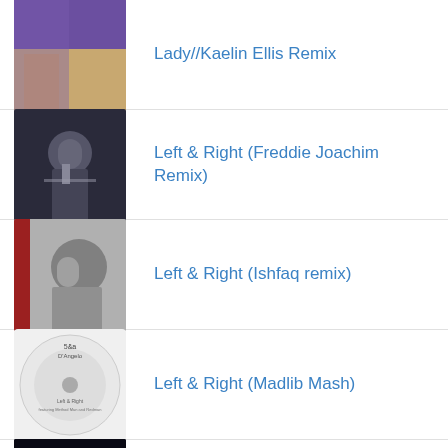Lady//Kaelin Ellis Remix
Left & Right (Freddie Joachim Remix)
Left & Right (Ishfaq remix)
Left & Right (Madlib Mash)
Left & Right (Moodprint Remix)
Me & Those Dreamin' (Jay Dee Remix)